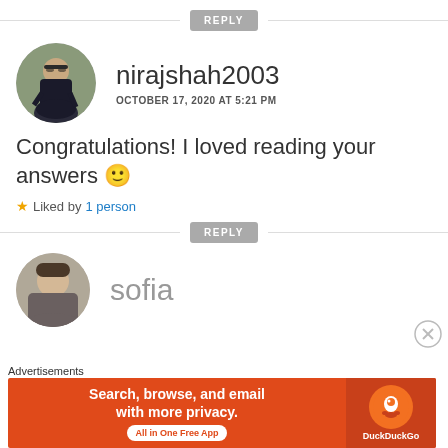REPLY
[Figure (photo): Circular avatar photo of nirajshah2003 — person sitting on a wall outdoors in dark athletic wear]
nirajshah2003
OCTOBER 17, 2020 AT 5:21 PM
Congratulations! I loved reading your answers 🙂
★ Liked by 1 person
REPLY
[Figure (photo): Circular avatar photo of sofia — partially visible person]
sofia
Advertisements
[Figure (screenshot): DuckDuckGo advertisement banner: Search, browse, and email with more privacy. All in One Free App. Orange background with DuckDuckGo logo.]